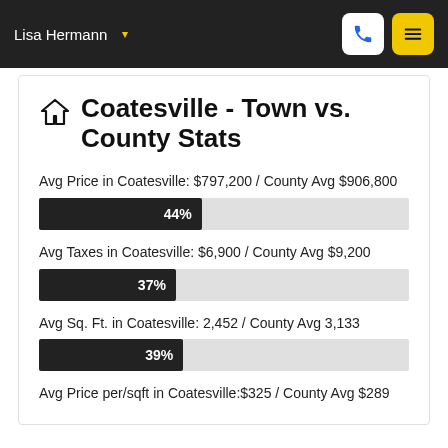Lisa Hermann
Coatesville - Town vs. County Stats
Avg Price in Coatesville: $797,200 / County Avg $906,800
[Figure (bar-chart): Avg Price percentage]
Avg Taxes in Coatesville: $6,900 / County Avg $9,200
[Figure (bar-chart): Avg Taxes percentage]
Avg Sq. Ft. in Coatesville: 2,452 / County Avg 3,133
[Figure (bar-chart): Avg Sq Ft percentage]
Avg Price per/sqft in Coatesville:$325 / County Avg $289